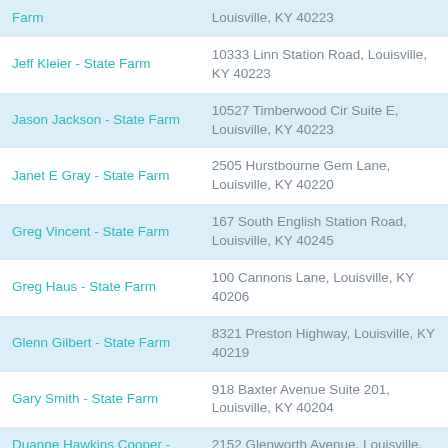| Name | Address |
| --- | --- |
| Farm | Louisville, KY 40223 |
| Jeff Kleier - State Farm | 10333 Linn Station Road, Louisville, KY 40223 |
| Jason Jackson - State Farm | 10527 Timberwood Cir Suite E, Louisville, KY 40223 |
| Janet E Gray - State Farm | 2505 Hurstbourne Gem Lane, Louisville, KY 40220 |
| Greg Vincent - State Farm | 167 South English Station Road, Louisville, KY 40245 |
| Greg Haus - State Farm | 100 Cannons Lane, Louisville, KY 40206 |
| Glenn Gilbert - State Farm | 8321 Preston Highway, Louisville, KY 40219 |
| Gary Smith - State Farm | 918 Baxter Avenue Suite 201, Louisville, KY 40204 |
| Duanne Hawkins Cooper - State Farm | 2152 Glenworth Avenue, Louisville, KY 40218 |
| Duane Riley - State Farm | 7707 Bardstown Road, Louisville, KY 40291 |
| Denny Kayrouz - State Farm | 9706 Taylorsville Road Ste 2, Louisville, KY 40299 |